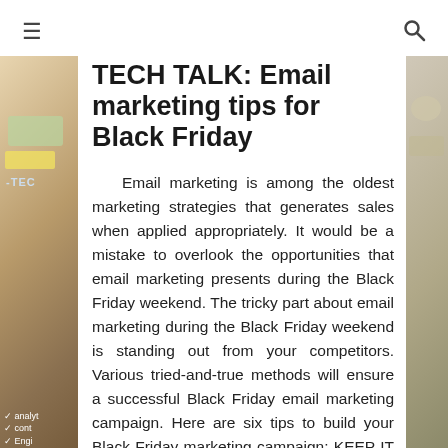☰  🔍
TECH TALK: Email marketing tips for Black Friday
[Figure (photo): Partial view of a person's hands with sticky notes and papers, visible on the left edge of the page]
[Figure (photo): Partial view of items on a table visible on the right edge of the page]
Email marketing is among the oldest marketing strategies that generates sales when applied appropriately. It would be a mistake to overlook the opportunities that email marketing presents during the Black Friday weekend. The tricky part about email marketing during the Black Friday weekend is standing out from your competitors. Various tried-and-true methods will ensure a successful Black Friday email marketing campaign. Here are six tips to build your Black Friday marketing campaign: KEEP IT SIMPLE Email campaigns need to be simple and...